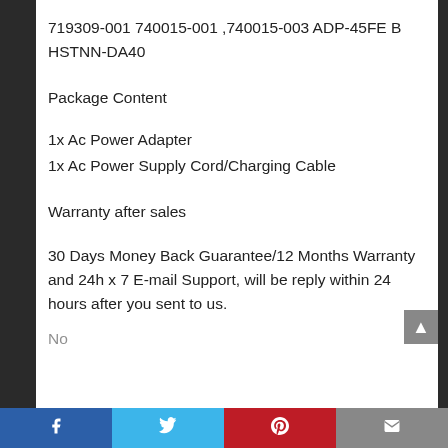719309-001 740015-001 ,740015-003︎ ADP-45FE B HSTNN-DA40
︎Package Content︎
1x Ac Power Adapter
1x Ac Power Supply Cord/Charging Cable
︎Warranty after sales︎
30 Days Money Back Guarantee/12 Months Warranty and 24h x 7 E-mail Support, will be reply within 24 hours after you sent to us.
Facebook | Twitter | Pinterest | Email